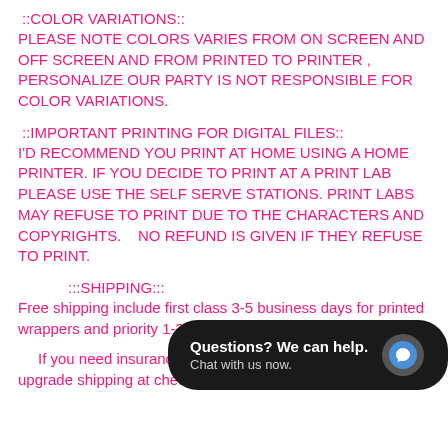::COLOR VARIATIONS::
PLEASE NOTE COLORS VARIES FROM ON SCREEN AND OFF SCREEN AND FROM PRINTED TO PRINTER , PERSONALIZE OUR PARTY IS NOT RESPONSIBLE FOR COLOR VARIATIONS.
::IMPORTANT PRINTING FOR DIGITAL FILES::
I'D RECOMMEND YOU PRINT AT HOME USING A HOME PRINTER. IF YOU DECIDE TO PRINT AT A PRINT LAB PLEASE USE THE SELF SERVE STATIONS. PRINT LABS MAY REFUSE TO PRINT DUE TO THE CHARACTERS AND COPYRIGHTS.   NO REFUND IS GIVEN IF THEY REFUSE TO PRINT.
:::SHIPPING:::
Free shipping include first class 3-5 business days for printed wrappers and priority 1-3 days for the chip bags filled with
[Figure (screenshot): Chat widget overlay with dark rounded rectangle background showing 'Questions? We can help.' and 'Chat with us now.' text with a blue circular chat icon on the right]
If you need insurance or signature required please upgrade shipping at check out or contact me so I can